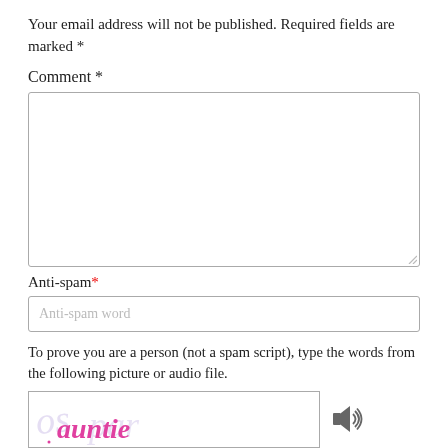Your email address will not be published. Required fields are marked *
Comment *
[Figure (other): Comment textarea input field, empty, with resize handle at bottom right]
Anti-spam*
[Figure (other): Anti-spam word text input field with placeholder text 'Anti-spam word']
To prove you are a person (not a spam script), type the words from the following picture or audio file.
[Figure (other): CAPTCHA image showing handwritten/stylized words in pink/purple with audio icon to the right]